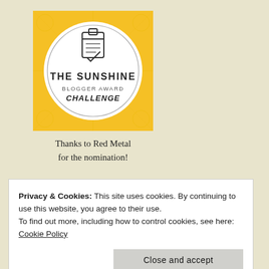[Figure (logo): The Sunshine Blogger Award Challenge badge — yellow square with a white circle containing a notepad icon and the text THE SUNSHINE BLOGGER AWARD CHALLENGE]
Thanks to Red Metal for the nomination!
Privacy & Cookies: This site uses cookies. By continuing to use this website, you agree to their use.
To find out more, including how to control cookies, see here: Cookie Policy
Close and accept